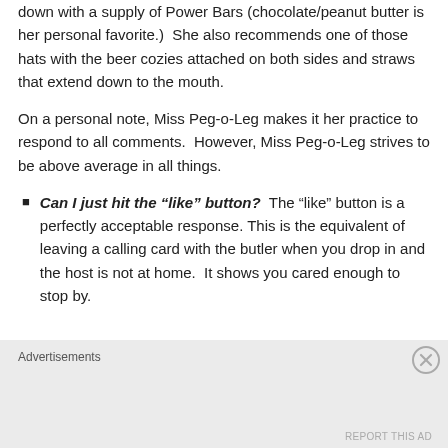down with a supply of Power Bars (chocolate/peanut butter is her personal favorite.)  She also recommends one of those hats with the beer cozies attached on both sides and straws that extend down to the mouth.
On a personal note, Miss Peg-o-Leg makes it her practice to respond to all comments.  However, Miss Peg-o-Leg strives to be above average in all things.
Can I just hit the “like” button?  The “like” button is a perfectly acceptable response. This is the equivalent of leaving a calling card with the butler when you drop in and the host is not at home.  It shows you cared enough to stop by.
Advertisements